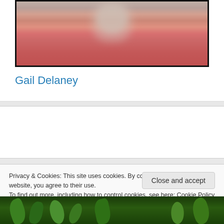[Figure (photo): Blurred/pixelated photo of a person wearing a red outfit, partially cropped at the top]
Gail Delaney
JOIN THE DISCUSSION
Gardening Forum
Privacy & Cookies: This site uses cookies. By continuing to use this website, you agree to their use.
To find out more, including how to control cookies, see here: Cookie Policy
Close and accept
[Figure (photo): Bottom strip showing green plant leaves/foliage, partially cropped]